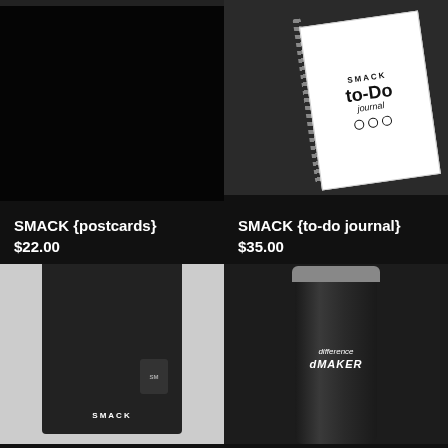[Figure (photo): Dark envelope or packaging product for SMACK postcards]
[Figure (photo): SMACK to-do journal with spiral binding, black and white cover design]
SMACK {postcards}
$22.00
SMACK {to-do journal}
$35.00
[Figure (photo): Black SMACK tote bag with handles and side pocket]
[Figure (photo): Black tumbler/cup with 'difference MAKER' text engraved]